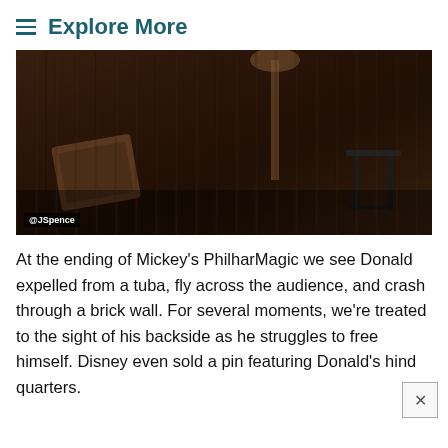Explore More
[Figure (photo): Dark, blurry scene from Mickey's PhilharMagic showing furniture and a stool in a room, with a watermark reading @JSpence in the lower left corner.]
At the ending of Mickey's PhilharMagic we see Donald expelled from a tuba, fly across the audience, and crash through a brick wall. For several moments, we're treated to the sight of his backside as he struggles to free himself. Disney even sold a pin featuring Donald's hind quarters.